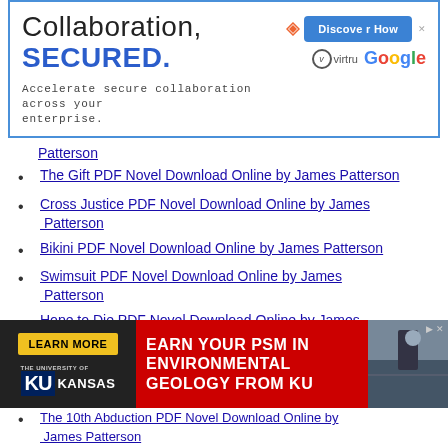[Figure (other): Top advertisement banner for Virtru/Google collaboration security product. Text: 'Collaboration, SECURED. Accelerate secure collaboration across your enterprise.' with Discover How button, Virtru and Google logos.]
Patterson (partial, top)
The Gift PDF Novel Download Online by James Patterson
Cross Justice PDF Novel Download Online by James Patterson
Bikini PDF Novel Download Online by James Patterson
Swimsuit PDF Novel Download Online by James Patterson
Hope to Die PDF Novel Download Online by James Patterson
Todesbote PDF Novel Download Online by James Patterson
Confessions of a Murder Suspect PDF Novel Download Online by James Patterson
[Figure (other): Bottom advertisement banner for University of Kansas. Text: 'EARN YOUR PSM IN ENVIRONMENTAL GEOLOGY FROM KU' with Learn More button and KU Kansas logo.]
The 10th Abduction PDF Novel Download Online by James Patterson (partial, bottom)